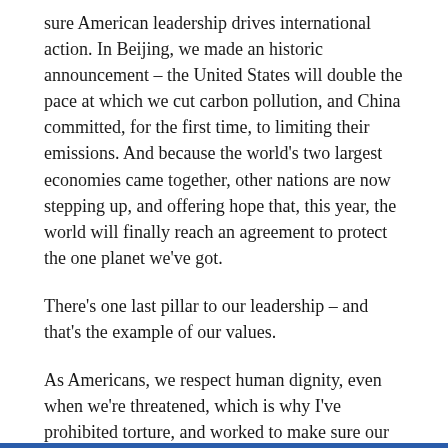sure American leadership drives international action. In Beijing, we made an historic announcement – the United States will double the pace at which we cut carbon pollution, and China committed, for the first time, to limiting their emissions. And because the world's two largest economies came together, other nations are now stepping up, and offering hope that, this year, the world will finally reach an agreement to protect the one planet we've got.
There's one last pillar to our leadership – and that's the example of our values.
As Americans, we respect human dignity, even when we're threatened, which is why I've prohibited torture, and worked to make sure our use of new technology like drones is properly constrained. It's why we speak out against the deplorable anti-Semitism that has resurfaced in certain parts of the world. It's why we continue to reject offensive stereotypes of Muslims – the vast